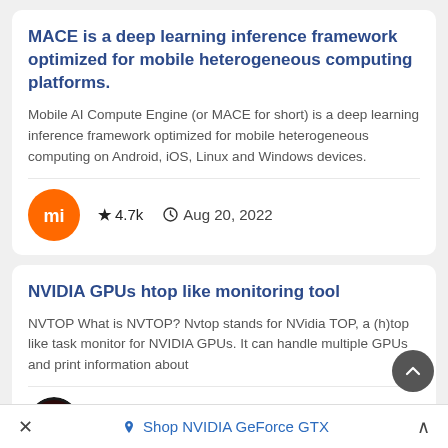MACE is a deep learning inference framework optimized for mobile heterogeneous computing platforms.
Mobile AI Compute Engine (or MACE for short) is a deep learning inference framework optimized for mobile heterogeneous computing on Android, iOS, Linux and Windows devices.
★ 4.7k   🕐 Aug 20, 2022
NVIDIA GPUs htop like monitoring tool
NVTOP What is NVTOP? Nvtop stands for NVidia TOP, a (h)top like task monitor for NVIDIA GPUs. It can handle multiple GPUs and print information about
★ 4.2k   🕐 Aug 25, 2022
× Shop NVIDIA GeForce GTX ∧